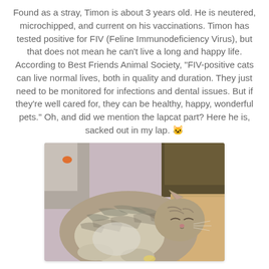Found as a stray, Timon is about 3 years old. He is neutered, microchipped, and current on his vaccinations. Timon has tested positive for FIV (Feline Immunodeficiency Virus), but that does not mean he can't live a long and happy life. According to Best Friends Animal Society, "FIV-positive cats can live normal lives, both in quality and duration. They just need to be monitored for infections and dental issues. But if they're well cared for, they can be healthy, happy, wonderful pets." Oh, and did we mention the lapcat part? Here he is, sacked out in my lap. 🐱
[Figure (photo): A tabby cat sleeping contentedly in someone's lap, curled up with eyes closed. The cat appears to be a grey/brown striped tabby. The background shows what looks like a couch or cushioned surface.]